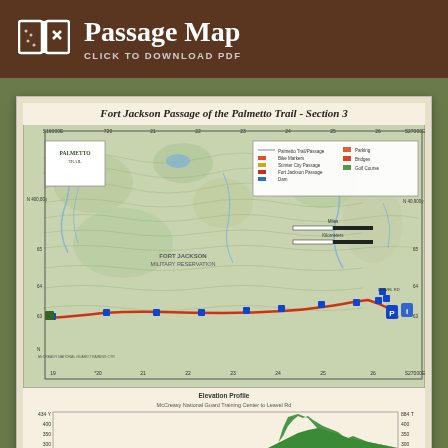Passage Map
CLICK TO DOWNLOAD PDF
[Figure (map): Fort Jackson Passage of the Palmetto Trail - Section 3 topographic trail map with legend showing McCrady National Guard Training Center to Leavel Rd, includes blue trail markers, parking symbol, and grid coordinates]
[Figure (area-chart): Elevation Profile: McCrady National Guard Training Center to Leavel Rd, showing elevation in feet from approximately 200ft to 434ft over 14+ miles distance, with green and blue area fill]